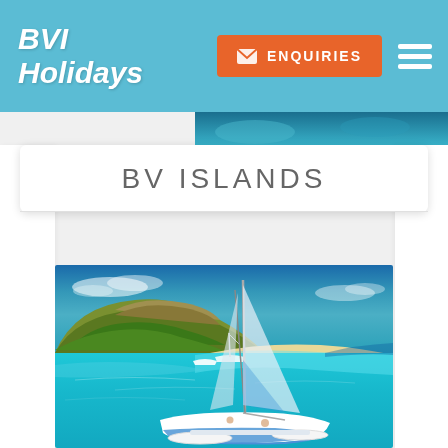BVI Holidays — ENQUIRIES button and hamburger menu
BV ISLANDS
[Figure (photo): Aerial view of a white sailboat/catamaran on turquoise Caribbean waters near a sandy beach and green hilly island, with two smaller boats in the background. British Virgin Islands.]